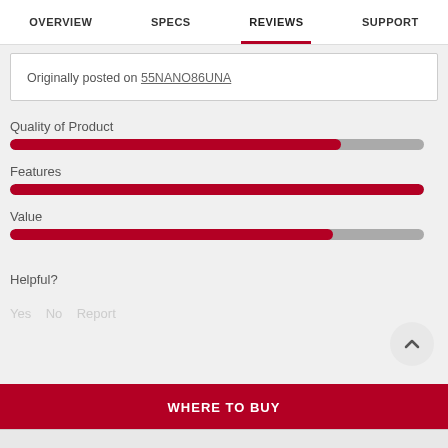OVERVIEW  SPECS  REVIEWS  SUPPORT
Originally posted on 55NANO86UNA
Quality of Product
[Figure (bar-chart): Quality of Product]
Features
[Figure (bar-chart): Features]
Value
[Figure (bar-chart): Value]
Helpful?
WHERE TO BUY